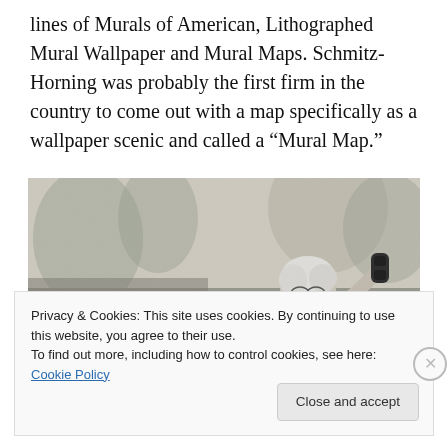lines of Murals of American, Lithographed Mural Wallpaper and Mural Maps. Schmitz-Horning was probably the first firm in the country to come out with a map specifically as a wallpaper scenic and called a “Mural Map.”
[Figure (photo): Black and white photograph of an elderly woman with white hair and glasses, smiling and talking on a telephone, with a mural map visible in the background.]
Privacy & Cookies: This site uses cookies. By continuing to use this website, you agree to their use.
To find out more, including how to control cookies, see here: Cookie Policy